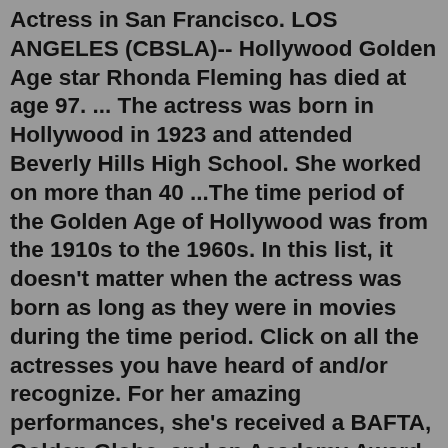Actress in San Francisco. LOS ANGELES (CBSLA)-- Hollywood Golden Age star Rhonda Fleming has died at age 97. ... The actress was born in Hollywood in 1923 and attended Beverly Hills High School. She worked on more than 40 ...The time period of the Golden Age of Hollywood was from the 1910s to the 1960s. In this list, it doesn't matter when the actress was born as long as they were in movies during the time period. Click on all the actresses you have heard of and/or recognize. For her amazing performances, she's received a BAFTA, Golden Globe, and an Academy Award. What was the golden age of actresses? You see, the Golden Age of Hollywood was a time between the '20s and '60s when the studio system ruled, meaning the Big Five studios controlled the film industry. Renée Simonot is a former French stage and voice actress. Simonot began her theatre career at the age of 7 and continued to work for the next 28 years. In addition to her stage work, Simonot was one of the first French actresses to dub American films when the talkies made their